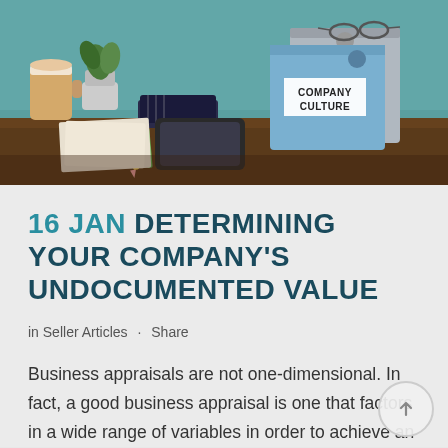[Figure (photo): Photo of a desk with office supplies, a coffee cup, a potted plant, notebooks, pencils, a phone, and two binder folders — one grey and one blue labeled 'COMPANY CULTURE'.]
16 JAN DETERMINING YOUR COMPANY'S UNDOCUMENTED VALUE
in Seller Articles · Share
Business appraisals are not one-dimensional. In fact, a good business appraisal is one that factors in a wide range of variables in order to achieve an